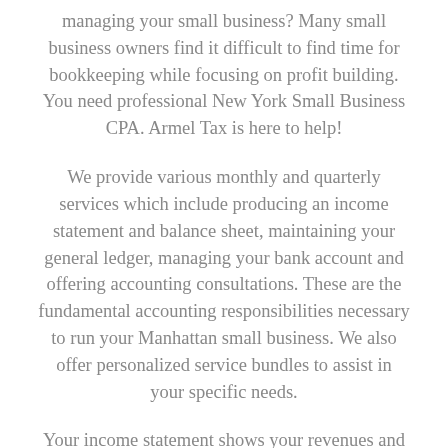managing your small business? Many small business owners find it difficult to find time for bookkeeping while focusing on profit building. You need professional New York Small Business CPA. Armel Tax is here to help!
We provide various monthly and quarterly services which include producing an income statement and balance sheet, maintaining your general ledger, managing your bank account and offering accounting consultations. These are the fundamental accounting responsibilities necessary to run your Manhattan small business. We also offer personalized service bundles to assist in your specific needs.
Your income statement shows your revenues and expenses, and whether you profited or lost during the period. This is also known as a profit and loss statement. With your income statement, you can